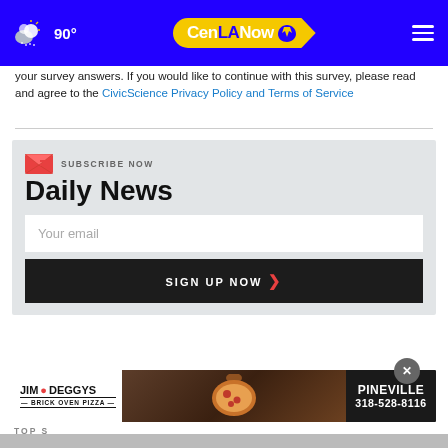90° CenLANow [weather icon] [hamburger menu]
your survey answers. If you would like to continue with this survey, please read and agree to the CivicScience Privacy Policy and Terms of Service
[Figure (screenshot): Subscribe Now newsletter signup box with 'Daily News' heading, email input field, and SIGN UP NOW button]
[Figure (infographic): Jim Deggys Brick Oven Pizza advertisement banner for Pineville location, phone number 318-528-8116]
TOP S...